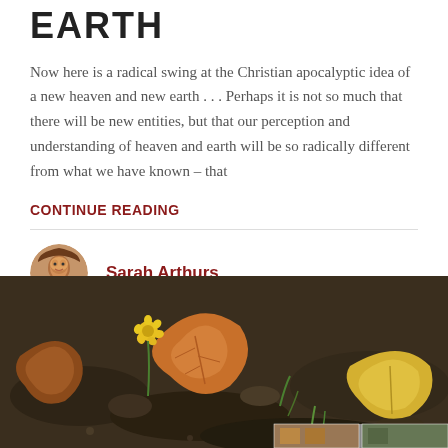EARTH
Now here is a radical swing at the Christian apocalyptic idea of a new heaven and new earth . . . Perhaps it is not so much that there will be new entities, but that our perception and understanding of heaven and earth will be so radically different from what we have known – that
CONTINUE READING
Sarah Arthurs
[Figure (photo): Close-up photo of autumn leaves and soil on the ground with a small yellow flower visible, with thumbnail images at the bottom right corner]